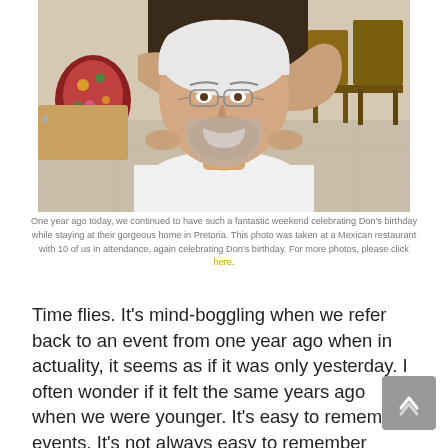[Figure (photo): Photo of an older man with white hair and glasses, smiling, wearing a white t-shirt. A woman stands behind him with her arms around his shoulders. They appear to be in a restaurant setting with chairs and tables visible in the background.]
One year ago today, we continued to have such a fantastic weekend celebrating Don's birthday while staying at their gorgeous home in Pretoria. This photo was taken at a Mexican restaurant with 10 of us in attendance, again celebrating Don's birthday. For more photos, please click here.
Time flies. It's mind-boggling when we refer back to an event from one year ago when in actuality, it seems as if it was only yesterday. I often wonder if it felt the same years ago when we were younger. It's easy to remember events. It's not always easy to remember